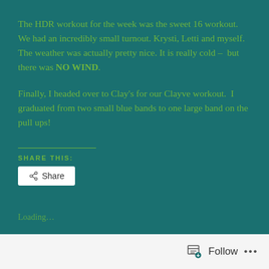The HDR workout for the week was the sweet 16 workout. We had an incredibly small turnout. Krysti, Letti and myself. The weather was actually pretty nice. It is really cold – but there was NO WIND.
Finally, I headed over to Clay's for our Clayve workout. I graduated from two small blue bands to one large band on the pull ups!
SHARE THIS:
Loading...
Follow ...